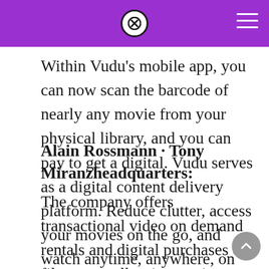Within Vudu's mobile app, you can now scan the barcode of nearly any movie from your physical library, and you can pay to get a digital. Vudu serves as a digital content delivery platform. Reduce clutter, access your movies on the go, and watch anytime, anywhere, on any device.
Alain Rossmann · Tony Miranzheadquarters:
The company offers transactional video on demand rentals and digital purchases of films, as well as integration with digital locker services for strⓍming digital copies of